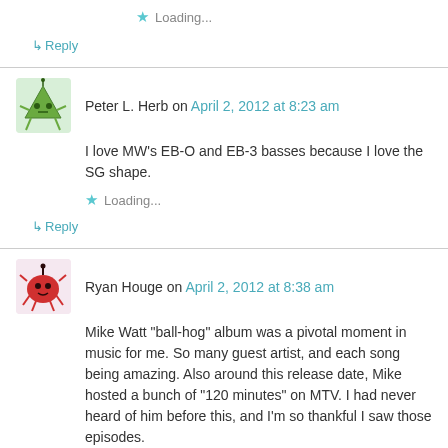Loading...
↳ Reply
Peter L. Herb on April 2, 2012 at 8:23 am
I love MW's EB-O and EB-3 basses because I love the SG shape.
Loading...
↳ Reply
Ryan Houge on April 2, 2012 at 8:38 am
Mike Watt "ball-hog" album was a pivotal moment in music for me. So many guest artist, and each song being amazing. Also around this release date, Mike hosted a bunch of "120 minutes" on MTV. I had never heard of him before this, and I'm so thankful I saw those episodes.
Loading...
↳ Reply